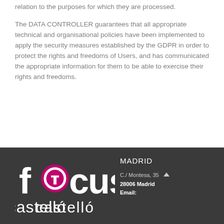relation to the purposes for which they are processed.
The DATA CONTROLLER guarantees that all appropriate technical and organisational policies have been implemented to apply the security measures established by the GDPR in order to protect the rights and freedoms of Users, and has communicated the appropriate information for them to be able to exercise their rights and freedoms.
[Figure (logo): Focus Castelló logo — white text with a magenta/pink circular icon replacing the letter 'o' in 'focus', on a dark grey background]
MADRID
C./ Montesa, 35
28006 Madrid
Email: